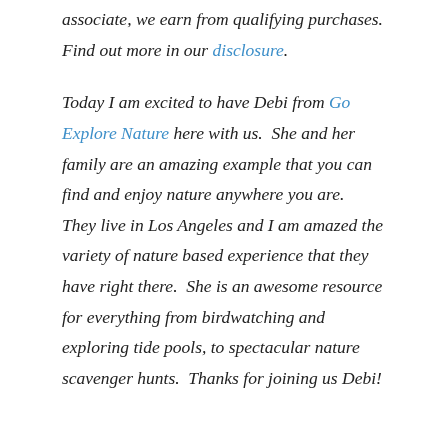associate, we earn from qualifying purchases. Find out more in our disclosure.
Today I am excited to have Debi from Go Explore Nature here with us.  She and her family are an amazing example that you can find and enjoy nature anywhere you are.  They live in Los Angeles and I am amazed the variety of nature based experience that they have right there.  She is an awesome resource for everything from birdwatching and exploring tide pools, to spectacular nature scavenger hunts.  Thanks for joining us Debi!